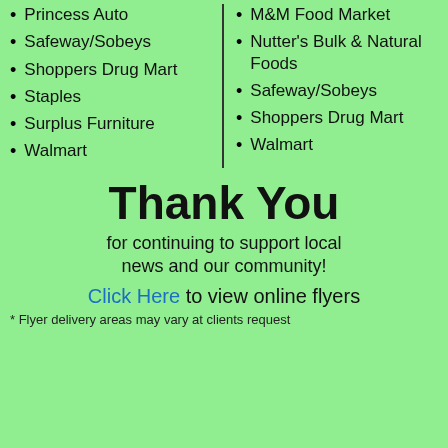Princess Auto
Safeway/Sobeys
Shoppers Drug Mart
Staples
Surplus Furniture
Walmart
M&M Food Market
Nutter's Bulk & Natural Foods
Safeway/Sobeys
Shoppers Drug Mart
Walmart
Thank You
for continuing to support local news and our community!
Click Here to view online flyers
* Flyer delivery areas may vary at clients request